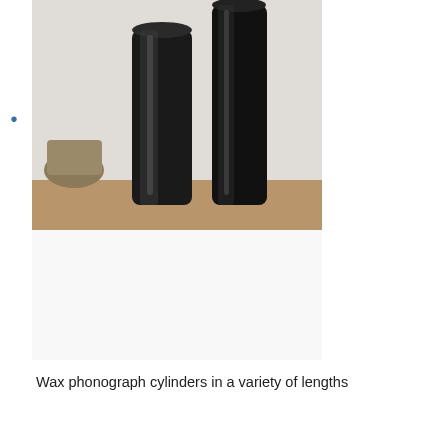[Figure (photo): Wax phonograph cylinders of varying heights standing upright against a wall, black in color]
Wax phonograph cylinders in a variety of lengths
[Figure (photo): A sound engineer holds one of the Mapleson Cylinders, with many cylindrical phonograph cylinders in wooden holders visible in the background]
A sound engineer holds one of the Mapleson Cylinders containing a